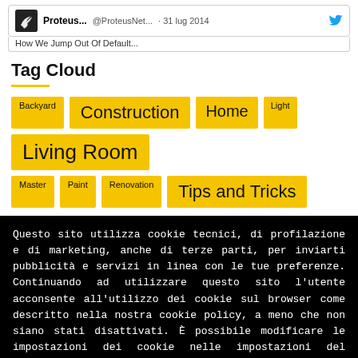[Figure (screenshot): Tweet from Proteus... @ProteusNet... · 31 lug 2014 with Twitter bird icon and partial tweet text]
Tag Cloud
Backyard
Construction
Home
Light
Living Room
Master
Paint
Renovation
Tips and Tricks
Questo sito utilizza cookie tecnici, di profilazione e di marketing, anche di terze parti, per inviarti pubblicità e servizi in linea con le tue preferenze. Continuando ad utilizzare questo sito l'utente acconsente all'utilizzo dei cookie sul browser come descritto nella nostra cookie policy, a meno che non siano stati disattivati. È possibile modificare le impostazioni dei cookie nelle impostazioni del browser, ma parti del sito potrebbero non funzionare correttamente.
DETTAGLI   CHIUDI